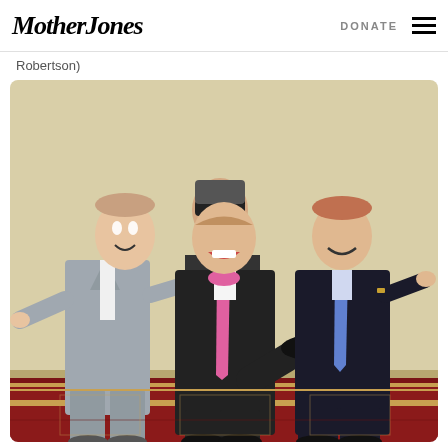Mother Jones   DONATE ☰
Robertson)
[Figure (photo): Four men posing and laughing together in formal attire. One man in a gray suit on the left, one in the back wearing sunglasses, one in the center wearing a dark suit with a pink tie and bow tie giving a wide smile with his leg raised, and one on the right in a dark suit with a blue tie. They are in what appears to be a hotel or event venue with a beige wall and patterned carpet.]